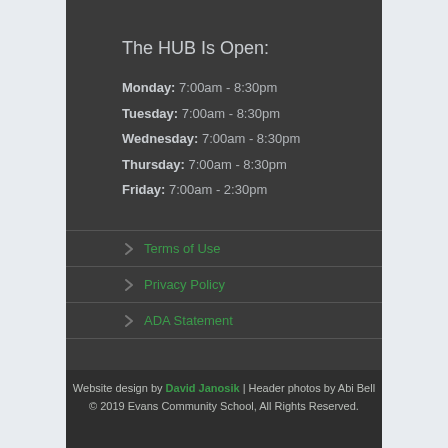The HUB Is Open:
Monday: 7:00am - 8:30pm
Tuesday: 7:00am - 8:30pm
Wednesday: 7:00am - 8:30pm
Thursday: 7:00am - 8:30pm
Friday: 7:00am - 2:30pm
Terms of Use
Privacy Policy
ADA Statement
Website design by David Janosik | Header photos by Abi Bell
© 2019 Evans Community School, All Rights Reserved.